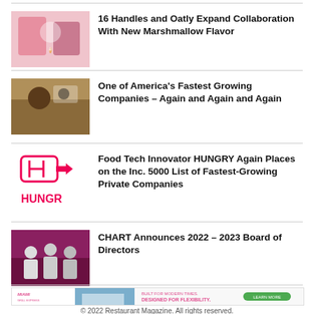16 Handles and Oatly Expand Collaboration With New Marshmallow Flavor
One of America’s Fastest Growing Companies – Again and Again and Again
Food Tech Innovator HUNGRY Again Places on the Inc. 5000 List of Fastest-Growing Private Companies
CHART Announces 2022 – 2023 Board of Directors
[Figure (illustration): Miami Grill Express advertisement banner: Built for Modern Times. Designed for Flexibility.]
© 2022 Restaurant Magazine. All rights reserved.